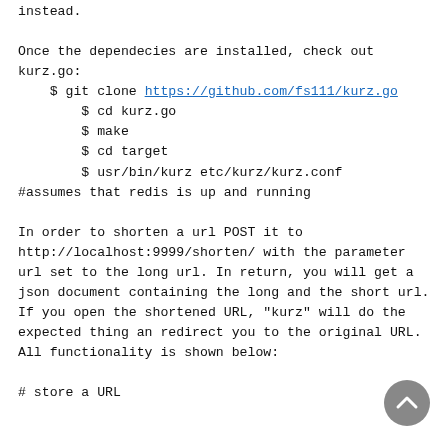instead.

Once the dependecies are installed, check out kurz.go:
    $ git clone https://github.com/fs111/kurz.go
        $ cd kurz.go
        $ make
        $ cd target
        $ usr/bin/kurz etc/kurz/kurz.conf
#assumes that redis is up and running

In order to shorten a url POST it to http://localhost:9999/shorten/ with the parameter url set to the long url. In return, you will get a json document containing the long and the short url. If you open the shortened URL, "kurz" will do the expected thing an redirect you to the original URL. All functionality is shown below:

# store a URL
[Figure (other): Back to top button - circular grey button with upward chevron arrow]